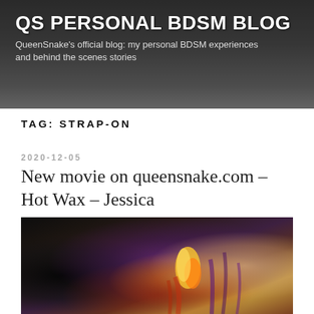QS PERSONAL BDSM BLOG
QueenSnake's official blog: my personal BDSM experiences and behind the scenes stories
TAG: STRAP-ON
2020-12-05
New movie on queensnake.com – Hot Wax – Jessica
[Figure (photo): Close-up photo showing colorful wax dripping, with hands and a lighter visible]